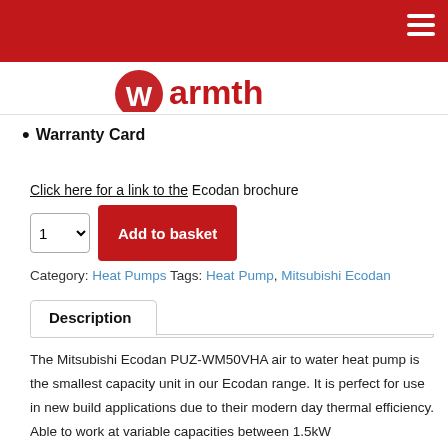Warmth — website header with logo and navigation
Warranty Card
Click here for a link to the Ecodan brochure
1  Add to basket
Category: Heat Pumps  Tags: Heat Pump, Mitsubishi Ecodan
Description
The Mitsubishi Ecodan PUZ-WM50VHA air to water heat pump is the smallest capacity unit in our Ecodan range. It is perfect for use in new build applications due to their modern day thermal efficiency. Able to work at variable capacities between 1.5kW...